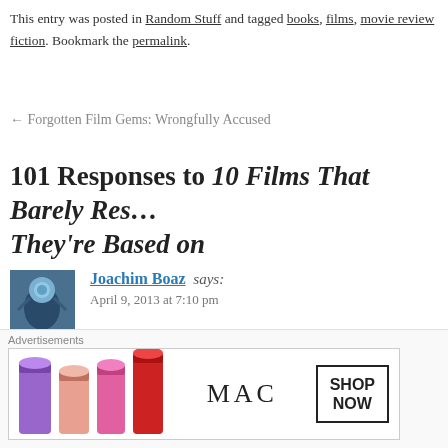This entry was posted in Random Stuff and tagged books, films, movie reviews, science fiction. Bookmark the permalink.
← Forgotten Film Gems: Wrongfully Accused
101 Responses to 10 Films That Barely Resemble the Books They're Based on
Joachim Boaz says: April 9, 2013 at 7:10 pm
Although Bladerunner did excise the entire animal plot, the film does hint at it throughout the movie — Deckard looks at the owl for the transformation the character undergoes, the animals carried around in the briefcase, Zhora's animal with the ID marking (implying they are con…
[Figure (photo): Advertisement banner for MAC cosmetics showing colorful lipsticks and SHOP NOW button]
Advertisements